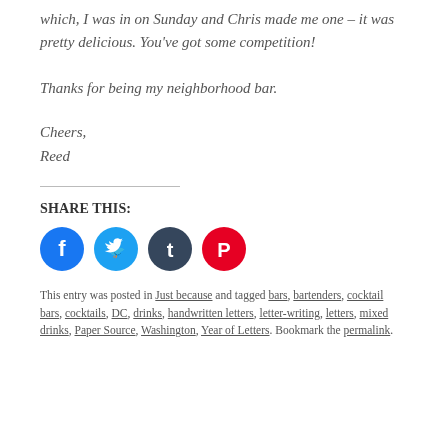which, I was in on Sunday and Chris made me one – it was pretty delicious. You've got some competition!
Thanks for being my neighborhood bar.
Cheers,
Reed
SHARE THIS:
[Figure (infographic): Four social media share buttons: Facebook (blue circle), Twitter (light blue circle), Tumblr (dark blue circle), Pinterest (red circle)]
This entry was posted in Just because and tagged bars, bartenders, cocktail bars, cocktails, DC, drinks, handwritten letters, letter-writing, letters, mixed drinks, Paper Source, Washington, Year of Letters. Bookmark the permalink.